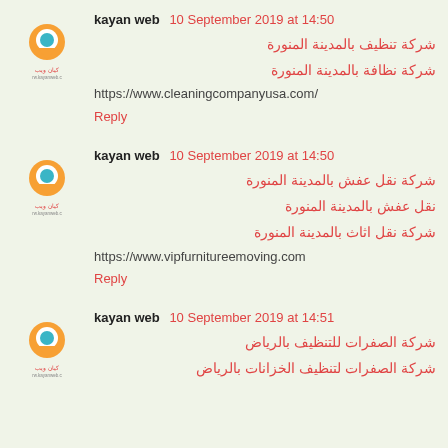[Figure (logo): Kayan web logo - orange location pin with blue/teal design, Arabic text below]
kayan web  10 September 2019 at 14:50
شركة تنظيف بالمدينة المنورة
شركة نظافة بالمدينة المنورة
https://www.cleaningcompanyusa.com/
Reply
[Figure (logo): Kayan web logo - orange location pin with blue/teal design, Arabic text below]
kayan web  10 September 2019 at 14:50
شركة نقل عفش بالمدينة المنورة
نقل عفش بالمدينة المنورة
شركة نقل اثاث بالمدينة المنورة
https://www.vipfurnitureemoving.com
Reply
[Figure (logo): Kayan web logo - orange location pin with blue/teal design, Arabic text below]
kayan web  10 September 2019 at 14:51
شركة الصفرات للتنظيف بالرياض
شركة الصفرات لتنظيف الخزانات بالرياض